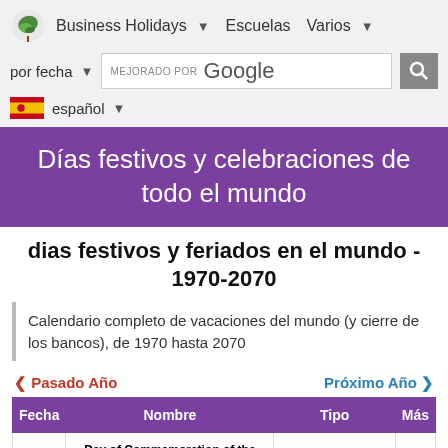Business Holidays | Escuelas | Varios
por fecha | MEJORADO POR Google [search]
español
Días festivos y celebraciones de todo el mundo
dias festivos y feriados en el mundo - 1970-2070
Calendario completo de vacaciones del mundo (y cierre de los bancos), de 1970 hasta 2070
◄ Pasado Año    Próximo Año ►
| Fecha | Nombre | Tipo | Más |
| --- | --- | --- | --- |
|  | Day of Commemoration of the Victims of the Crimes | Acontecimientos, |  |